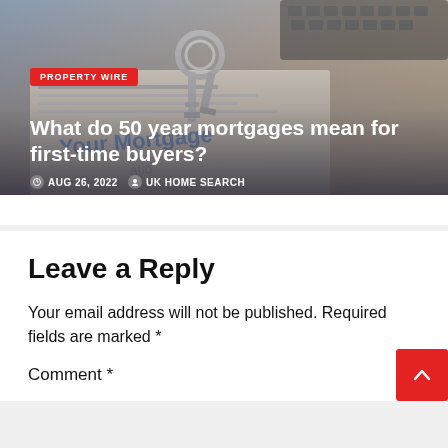[Figure (photo): Photo of house keys on a mortgage document, blurred keyboard in background, with overlaid article card showing title and metadata]
What do 50 year mortgages mean for first-time buyers?
AUG 26, 2022   UK HOME SEARCH
Leave a Reply
Your email address will not be published. Required fields are marked *
Comment *